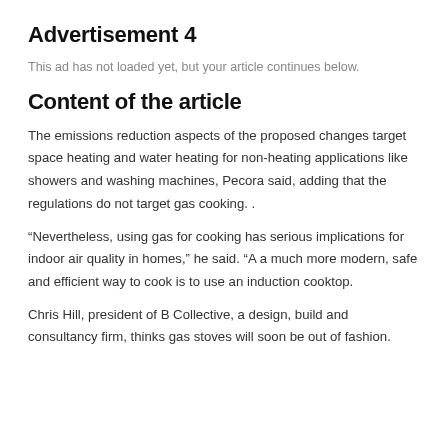Advertisement 4
This ad has not loaded yet, but your article continues below.
Content of the article
The emissions reduction aspects of the proposed changes target space heating and water heating for non-heating applications like showers and washing machines, Pecora said, adding that the regulations do not target gas cooking. .
“Nevertheless, using gas for cooking has serious implications for indoor air quality in homes,” he said. “A a much more modern, safe and efficient way to cook is to use an induction cooktop.
Chris Hill, president of B Collective, a design, build and consultancy firm, thinks gas stoves will soon be out of fashion.